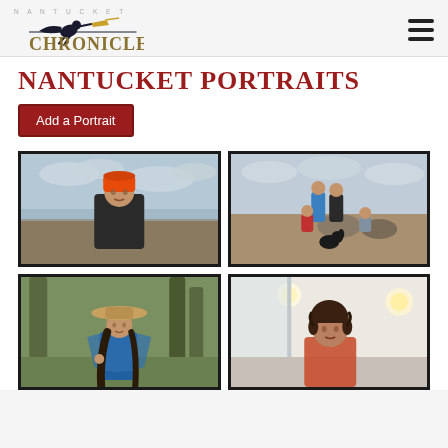Nantucket Chronicle
NANTUCKET PORTRAITS
Add a Portrait
[Figure (photo): Man wearing an orange knit hat and dark jacket, standing outdoors near water with cloudy sky]
[Figure (photo): Group of people including children and a black dog sitting on rocks outdoors on a heath landscape with cloudy sky]
[Figure (photo): Young woman wearing a wide-brimmed hat and blue outfit standing near trees]
[Figure (photo): Woman with curly brown hair in an interior setting with modern lighting]